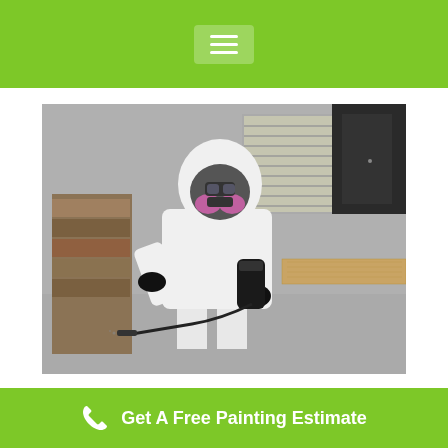Navigation menu
[Figure (photo): A pest control technician wearing a white hazmat suit, black gloves, and a respirator mask, spraying chemicals with a handheld sprayer in a kitchen/room environment with wooden countertop and dark cabinets.]
Residential & Commercial
Get A Free Painting Estimate